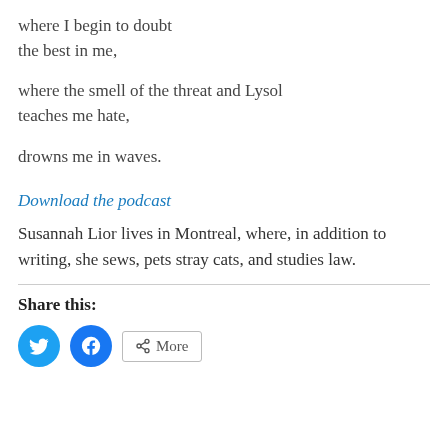where I begin to doubt
the best in me,
where the smell of the threat and Lysol
teaches me hate,
drowns me in waves.
Download the podcast
Susannah Lior lives in Montreal, where, in addition to writing, she sews, pets stray cats, and studies law.
Share this: